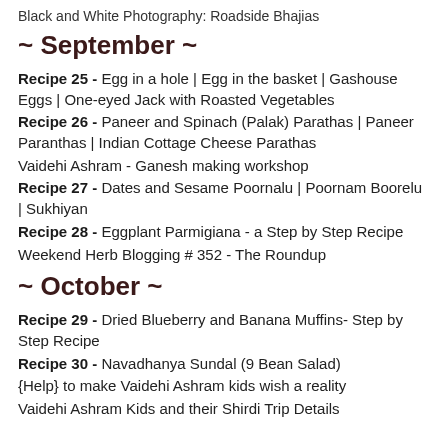Black and White Photography: Roadside Bhajias
~ September ~
Recipe 25 - Egg in a hole | Egg in the basket | Gashouse Eggs | One-eyed Jack with Roasted Vegetables
Recipe 26 - Paneer and Spinach (Palak) Parathas | Paneer Paranthas | Indian Cottage Cheese Parathas
Vaidehi Ashram - Ganesh making workshop
Recipe 27 - Dates and Sesame Poornalu | Poornam Boorelu | Sukhiyan
Recipe 28 - Eggplant Parmigiana - a Step by Step Recipe
Weekend Herb Blogging # 352 - The Roundup
~ October ~
Recipe 29 - Dried Blueberry and Banana Muffins- Step by Step Recipe
Recipe 30 - Navadhanya Sundal (9 Bean Salad)
{Help} to make Vaidehi Ashram kids wish a reality
Vaidehi Ashram Kids and their Shirdi Trip Details